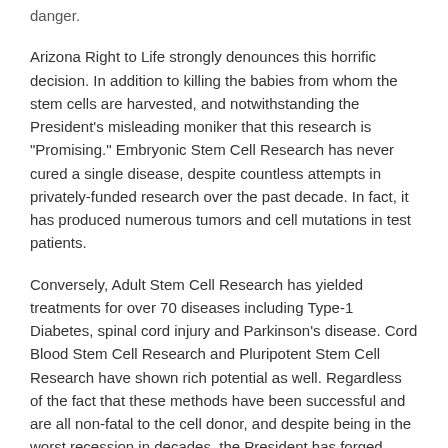danger.
Arizona Right to Life strongly denounces this horrific decision. In addition to killing the babies from whom the stem cells are harvested, and notwithstanding the President's misleading moniker that this research is "Promising." Embryonic Stem Cell Research has never cured a single disease, despite countless attempts in privately-funded research over the past decade. In fact, it has produced numerous tumors and cell mutations in test patients.
Conversely, Adult Stem Cell Research has yielded treatments for over 70 diseases including Type-1 Diabetes, spinal cord injury and Parkinson's disease. Cord Blood Stem Cell Research and Pluripotent Stem Cell Research have shown rich potential as well. Regardless of the fact that these methods have been successful and are all non-fatal to the cell donor, and despite being in the worst recession in decades, the President has forged ahead with his morally and fiscally irresponsible insistence on the pursuit of life-ending and financially wasteful Embryonic Stem Cell Research.
Despite campaign promises to unite the country, this move comes just days after another anti-life attack in which President Obama overturned regulations protecting healthcare workers from being forced to perform procedures that violate their consciences, and in the shadows of the looming FOCA efforts. President Obama's radical policies have blatantly attacked pro-life policies and adherants, and have divided this country more than ever before.